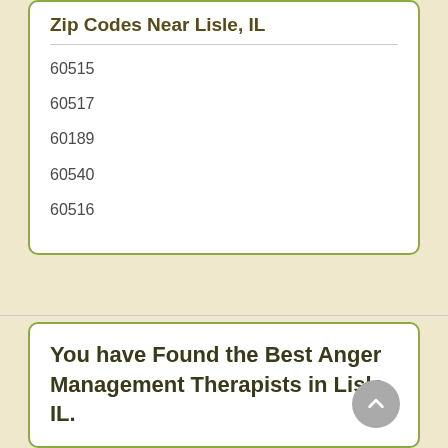Zip Codes Near Lisle, IL
60515
60517
60189
60540
60516
You have Found the Best Anger Management Therapists in Lisle, IL.